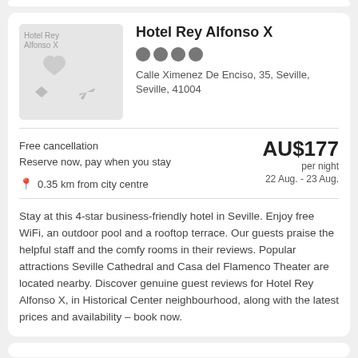[Figure (photo): Hotel Rey Alfonso X placeholder image with grey background and faint travel icons]
Hotel Rey Alfonso X
Calle Ximenez De Enciso, 35, Seville, Seville, 41004
Free cancellation
Reserve now, pay when you stay
0.35 km from city centre
AU$177 per night
22 Aug. - 23 Aug.
Stay at this 4-star business-friendly hotel in Seville. Enjoy free WiFi, an outdoor pool and a rooftop terrace. Our guests praise the helpful staff and the comfy rooms in their reviews. Popular attractions Seville Cathedral and Casa del Flamenco Theater are located nearby. Discover genuine guest reviews for Hotel Rey Alfonso X, in Historical Center neighbourhood, along with the latest prices and availability – book now.